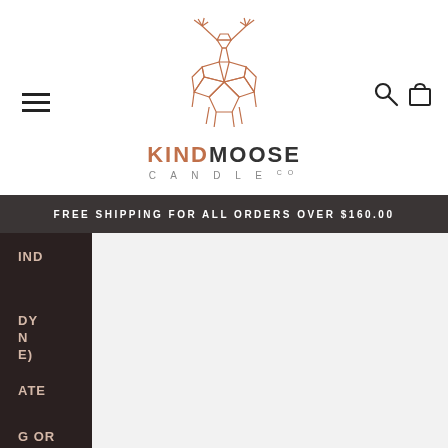[Figure (logo): KindMoose Candle Co geometric moose logo in copper/rose-gold line art style]
KINDMOOSE CANDLE CO
FREE SHIPPING FOR ALL ORDERS OVER $160.00
IND
DY
N
E)
ATE
G OR
CT